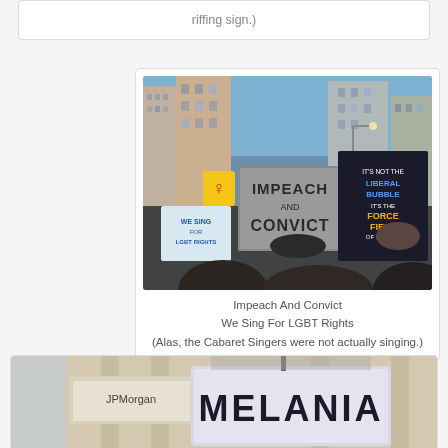riffing sign.)
[Figure (photo): Protest scene in a city street with tall buildings. Protesters holding signs including 'IMPEACH AND CONVICT', 'WE SING FOR LGBT RIGHTS', and 'IT'S NOT THE LIBERAL BUBBLE IT'S THE FORCE FIELD OF OUR NATION'.]
Impeach And Convict
We Sing For LGBT Rights
(Alas, the Cabaret Singers were not actually singing.)
[Figure (photo): Partial view of a protest sign reading 'MELANIA' held up in front of a building, with a JPMorgan sign visible nearby.]